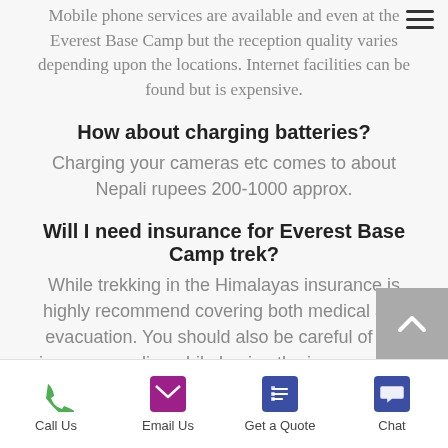Mobile phone services are available and even at the Everest Base Camp but the reception quality varies depending upon the locations. Internet facilities can be found but is expensive.
How about charging batteries?
Charging your cameras etc comes to about Nepali rupees 200-1000 approx.
Will I need insurance for Everest Base Camp trek?
While trekking in the Himalayas insurance is highly recommend covering both medical and evacuation. You should also be careful of the insurance policy while buying the insurance as some insurance...